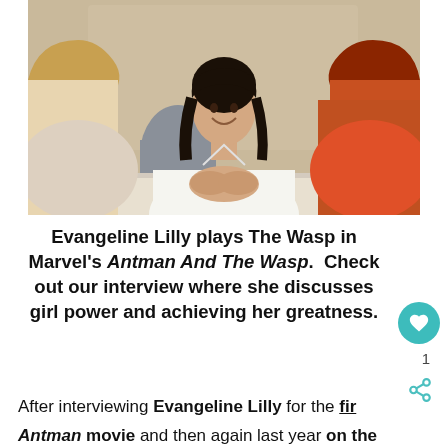[Figure (photo): A woman with dark hair in a white blazer sits at a table with hands clasped, smiling, across from two people whose backs are to the camera — one blonde (left), one with red hair (right). The setting appears to be a hotel or conference room with beige walls.]
Evangeline Lilly plays The Wasp in Marvel's Antman And The Wasp.  Check out our interview where she discusses girl power and achieving her greatness.
After interviewing Evangeline Lilly for the fir Antman movie and then again last year on the